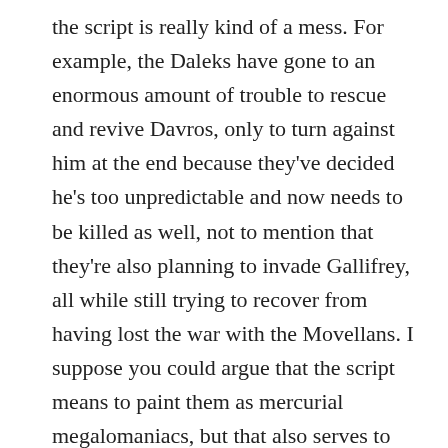the script is really kind of a mess. For example, the Daleks have gone to an enormous amount of trouble to rescue and revive Davros, only to turn against him at the end because they've decided he's too unpredictable and now needs to be killed as well, not to mention that they're also planning to invade Gallifrey, all while still trying to recover from having lost the war with the Movellans. I suppose you could argue that the script means to paint them as mercurial megalomaniacs, but that also serves to undercut their credibility as a threat. And while Mercer and Stien are drawn well enough to hold the audience's interest, too many of the guest characters seem to be there just to run around,